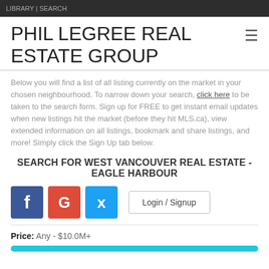LIBRARY | SEARCH
PHIL LEGREE REAL ESTATE GROUP
Below you will find a list of all listing currently on the market in your chosen neighbourhood. To narrow down your search, click here to be taken to the search form. Sign up for FREE to get instant email updates when new listings hit the market (before they hit MLS.ca), view extended information on all listings, bookmark and share listings, and more! Simply click the Sign Up tab below.
SEARCH FOR WEST VANCOUVER REAL ESTATE - EAGLE HARBOUR
Facebook | Google | Twitter | Login / Signup
Price: Any - $10.0M+